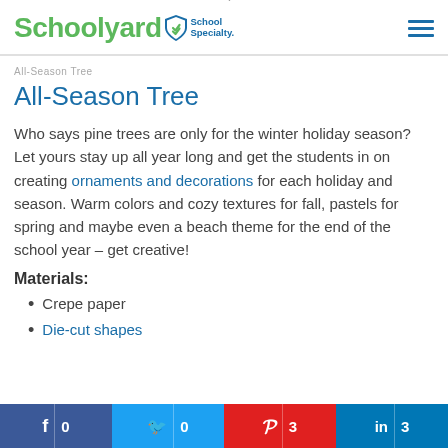Schoolyard Presented by School Specialty
All-Season Tree
Who says pine trees are only for the winter holiday season? Let yours stay up all year long and get the students in on creating ornaments and decorations for each holiday and season. Warm colors and cozy textures for fall, pastels for spring and maybe even a beach theme for the end of the school year – get creative!
Materials:
Crepe paper
Die-cut shapes
f 0  0  p 3  in 3